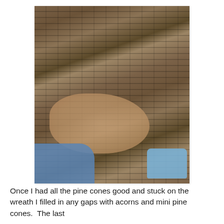[Figure (photo): A hand holding a large pine cone vertically, with other pine cones and a blue hot glue gun visible on a wooden work surface in the background. The person is wearing a blue sleeve.]
Once I had all the pine cones good and stuck on the wreath I filled in any gaps with acorns and mini pine cones.  The last